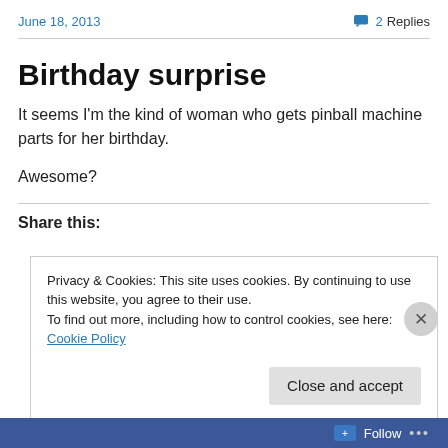June 18, 2013 | 2 Replies
Birthday surprise
It seems I'm the kind of woman who gets pinball machine parts for her birthday.
Awesome?
Share this:
Privacy & Cookies: This site uses cookies. By continuing to use this website, you agree to their use.
To find out more, including how to control cookies, see here: Cookie Policy
Follow ...